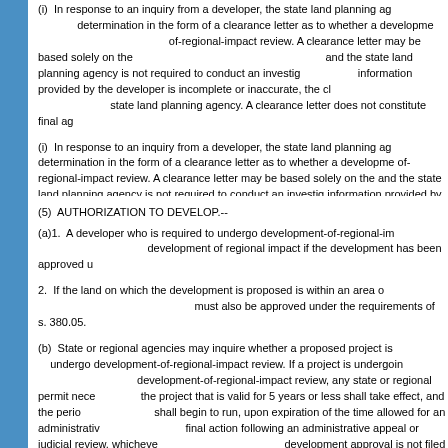(i)  In response to an inquiry from a developer, the state land planning agency shall make a determination in the form of a clearance letter as to whether a development is subject to development-of-regional-impact review. A clearance letter may be based solely on the information provided by the developer, and the state land planning agency is not required to conduct an investigation. If the information provided by the developer is incomplete or inaccurate, the clearance letter is not binding on the state land planning agency. A clearance letter does not constitute final agency action.
(5)  AUTHORIZATION TO DEVELOP.--
(a)1.  A developer who is required to undergo development-of-regional-impact review may develop a development of regional impact if the development has been approved under this section.
2.  If the land on which the development is proposed is within an area of critical state concern, the development must also be approved under the requirements of s. 380.05.
(b)  State or regional agencies may inquire whether a proposed project is required to undergo development-of-regional-impact review. If a project is undergoing or is required to undergo development-of-regional-impact review, any state or regional permit necessary for the project that is valid for 5 years or less shall take effect, and the period of the permit shall begin to run, upon expiration of the time allowed for an administrative appeal or upon final action following an administrative appeal or judicial review, whichever is later. If an appeal of a development approval is not filed within 18 months after the issuance of the development order, the permit shall be considered to be from the date of issuance of the permit.